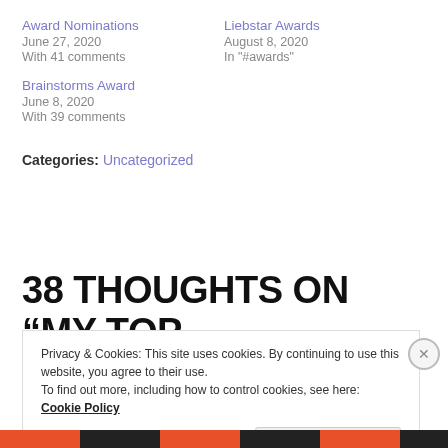Award Nominations
June 27, 2020
With 41 comments
Liebstar Awards
August 8, 2020
In "#awards"
Brainstorms Award
June 8, 2020
With 39 comments
Categories: Uncategorized
38 THOUGHTS ON “MY TOP
Privacy & Cookies: This site uses cookies. By continuing to use this website, you agree to their use.
To find out more, including how to control cookies, see here: Cookie Policy
Close and accept